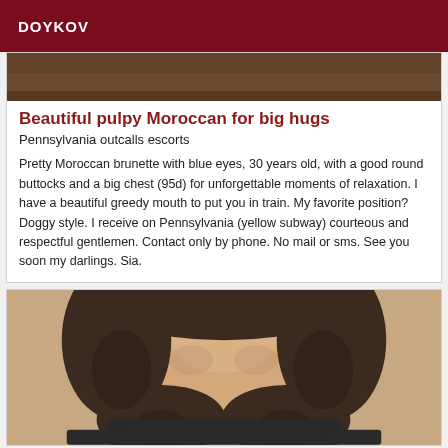DOYKOV
[Figure (photo): Top portion of a photo showing a wooden interior background, partially cropped]
Beautiful pulpy Moroccan for big hugs
Pennsylvania outcalls escorts
Pretty Moroccan brunette with blue eyes, 30 years old, with a good round buttocks and a big chest (95d) for unforgettable moments of relaxation. I have a beautiful greedy mouth to put you in train. My favorite position? Doggy style. I receive on Pennsylvania (yellow subway) courteous and respectful gentlemen. Contact only by phone. No mail or sms. See you soon my darlings. Sia.
[Figure (photo): Photo of a woman with curly dark hair, face partially visible, wearing a dark top]